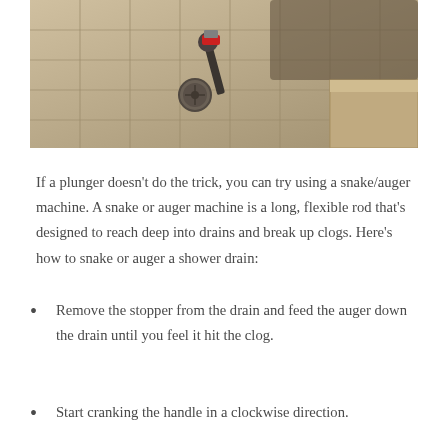[Figure (photo): A person using a power tool or auger machine on a tiled shower floor drain. The tile floor is beige/tan colored with visible grout lines. A round drain cover is visible on the floor.]
If a plunger doesn't do the trick, you can try using a snake/auger machine. A snake or auger machine is a long, flexible rod that's designed to reach deep into drains and break up clogs. Here's how to snake or auger a shower drain:
Remove the stopper from the drain and feed the auger down the drain until you feel it hit the clog.
Start cranking the handle in a clockwise direction.